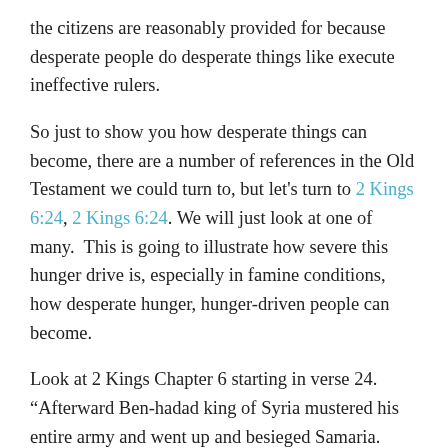the citizens are reasonably provided for because desperate people do desperate things like execute ineffective rulers.
So just to show you how desperate things can become, there are a number of references in the Old Testament we could turn to, but let’s turn to 2 Kings 6:24, 2 Kings 6:24. We will just look at one of many.  This is going to illustrate how severe this hunger drive is, especially in famine conditions, how desperate hunger, hunger-driven people can become.
Look at 2 Kings Chapter 6 starting in verse 24. “Afterward Ben-hadad king of Syria mustered his entire army and went up and besieged Samaria.  And there was a great famine in Samaria, as they besieged it, until a